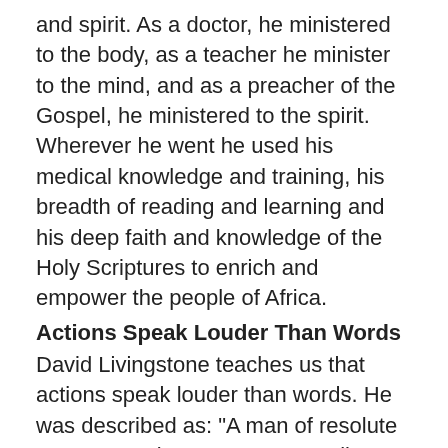and spirit. As a doctor, he ministered to the body, as a teacher he minister to the mind, and as a preacher of the Gospel, he ministered to the spirit. Wherever he went he used his medical knowledge and training, his breadth of reading and learning and his deep faith and knowledge of the Holy Scriptures to enrich and empower the people of Africa.
Actions Speak Louder Than Words
David Livingstone teaches us that actions speak louder than words. He was described as: "A man of resolute courage"; "Fire, water, stonewall would not stop Livingstone in the fulfilment of any recognised duty." Indeed he did not let swamps, rivers, deserts, or mountains prevent him from opening up Africa for the Gospel.
The Great Commission Was His Supreme Ambition
David Livingstone was determined to make a difference. The Great Commission was his supreme